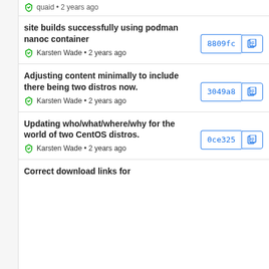quaid • 2 years ago
site builds successfully using podman nanoc container
Karsten Wade • 2 years ago
8809fc
Adjusting content minimally to include there being two distros now.
Karsten Wade • 2 years ago
3049a8
Updating who/what/where/why for the world of two CentOS distros.
Karsten Wade • 2 years ago
0ce325
Correct download links for